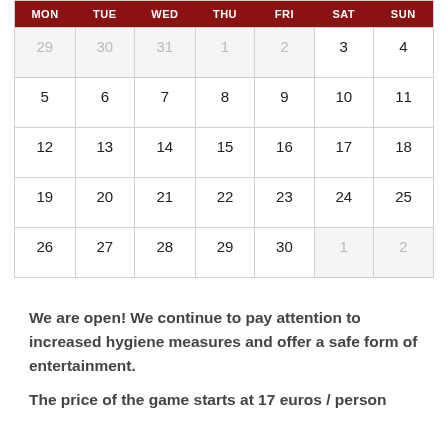| MON | TUE | WED | THU | FRI | SAT | SUN |
| --- | --- | --- | --- | --- | --- | --- |
| 29 | 30 | 31 | 1 | 2 | 3 | 4 |
| 5 | 6 | 7 | 8 | 9 | 10 | 11 |
| 12 | 13 | 14 | 15 | 16 | 17 | 18 |
| 19 | 20 | 21 | 22 | 23 | 24 | 25 |
| 26 | 27 | 28 | 29 | 30 | 1 | 2 |
We are open! We continue to pay attention to increased hygiene measures and offer a safe form of entertainment.
The price of the game starts at 17 euros / person